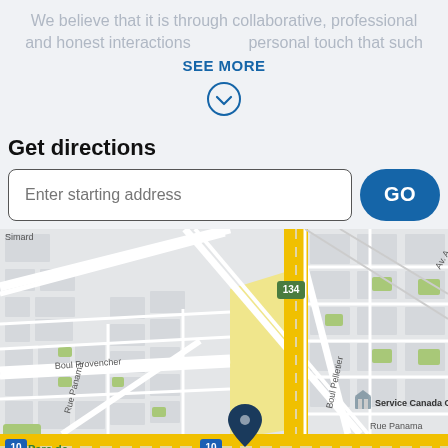We believe that it is through collaborative, professional and honest interactions personal touch that such
SEE MORE
Get directions
Enter starting address
GO
[Figure (map): Street map showing area with Boul Provencher, Rue Panama, Boul Pelletier, Service Canada Centre marker, route 134 highway, route 10, and a location pin near Rue Panama]